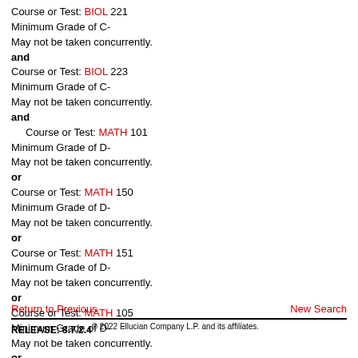Course or Test: BIOL 221
Minimum Grade of C-
May not be taken concurrently.
and
Course or Test: BIOL 223
Minimum Grade of C-
May not be taken concurrently.
and
Course or Test: MATH 101
Minimum Grade of D-
May not be taken concurrently.
or
Course or Test: MATH 150
Minimum Grade of D-
May not be taken concurrently.
or
Course or Test: MATH 151
Minimum Grade of D-
May not be taken concurrently.
or
Course or Test: MATH 105
Minimum Grade of D-
May not be taken concurrently.
or
Course or Test: MATH 201
Minimum Grade of D-
May not be taken concurrently.
Return to Previous
New Search
RELEASE: 8.7.2.4 © 2022 Ellucian Company L.P. and its affiliates.